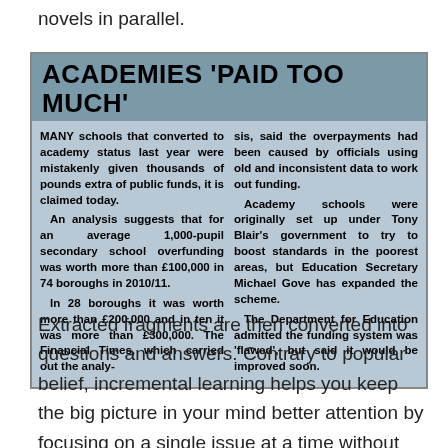novels in parallel.
ACADEMIES 'PAID TOO MUCH'
MANY schools that converted to academy status last year were mistakenly given thousands of pounds extra of public funds, it is claimed today.
    An analysis suggests that for an average 1,000-pupil secondary school overfunding was worth more than £100,000 in 74 boroughs in 2010/11.
    In 28 boroughs it was worth more than £200,000 and in ten it was more than £300,000. The Financial Times, which carried out the analysis, said the overpayments had been caused by officials using old and inconsistent data to work out funding.
    Academy schools were originally set up under Tony Blair's government to try to boost standards in the poorest areas, but Education Secretary Michael Gove has expanded the scheme.
    The Department for Education admitted the funding system was 'flawed', but said it would be improved soon.
Extracted fragments are then converted into questions and answers. Contrary to popular belief, incremental learning helps you keep the big picture in your mind better attention by focusing on a single issue at a time without ever missing a detail, and by remedying attention deficits